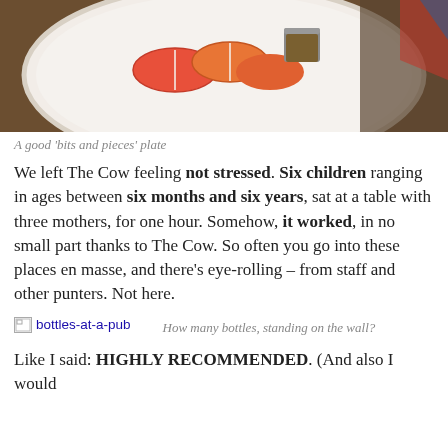[Figure (photo): Top-down photo of a white plate with sliced apples and a small cup of dipping sauce, on a dark wooden table. Partially cropped at top.]
A good 'bits and pieces' plate
We left The Cow feeling not stressed. Six children ranging in ages between six months and six years, sat at a table with three mothers, for one hour. Somehow, it worked, in no small part thanks to The Cow. So often you go into these places en masse, and there's eye-rolling – from staff and other punters. Not here.
[Figure (photo): Broken image placeholder labeled 'bottles-at-a-pub']
How many bottles, standing on the wall?
Like I said: HIGHLY RECOMMENDED. (And also I would